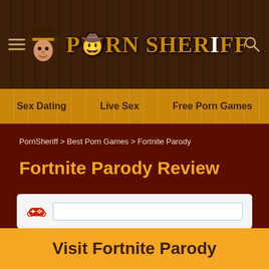Porn Sheriff — Sex Dating | Live Sex | Free Porn Games
PornSheriff > Best Porn Games > Fortnite Parody
Fortnite Parody Review
[Figure (screenshot): White card with red game controller icon and a light blue bordered input/search bar]
Visit Fortnite Parody